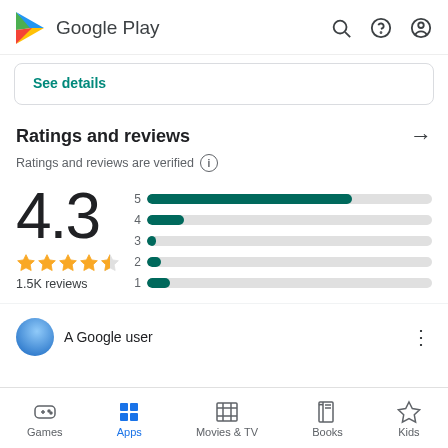Google Play
See details
Ratings and reviews
Ratings and reviews are verified
[Figure (bar-chart): Star rating distribution bars for 4.3 rating with 1.5K reviews]
4.3
1.5K reviews
A Google user
Games  Apps  Movies & TV  Books  Kids